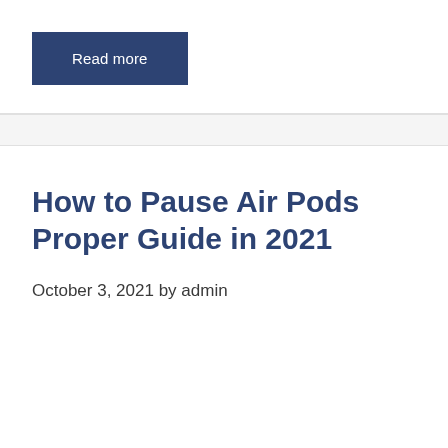Read more
How to Pause Air Pods Proper Guide in 2021
October 3, 2021 by admin